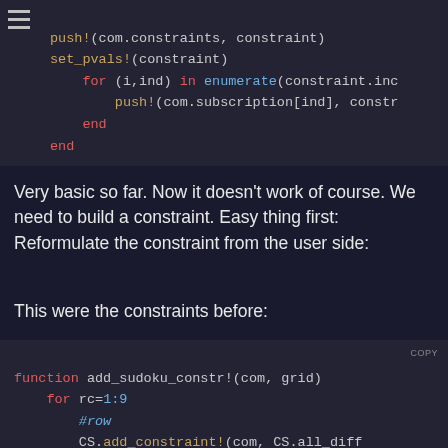[Figure (screenshot): Code block showing Julia code with push! and set_pvals! functions, for loop with enumerate, end keywords. Dark themed code editor.]
Very basic so far. Now it doesn't work of course. We need to build a constraint. Easy thing first: Reformulate the constraint from the user side:
This were the constraints before:
[Figure (screenshot): Code block showing Julia function add_sudoku_constr!(com, grid) with for rc=1:9 loop, #row and #col comments, CS.add_constraint! calls, end keyword, and for br=0:2 loop start.]